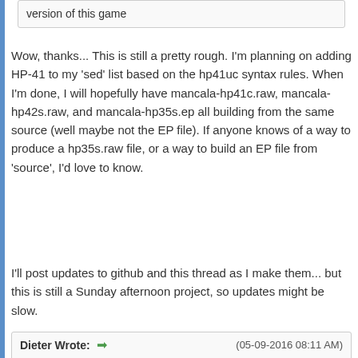version of this game
Wow, thanks... This is still a pretty rough. I'm planning on adding HP-41 to my 'sed' list based on the hp41uc syntax rules. When I'm done, I will hopefully have mancala-hp41c.raw, mancala-hp42s.raw, and mancala-hp35s.ep all building from the same source (well maybe not the EP file). If anyone knows of a way to produce a hp35s.raw file, or a way to build an EP file from 'source', I'd love to know.
I'll post updates to github and this thread as I make them... but this is still a Sunday afternoon project, so updates might be slow.
Dieter Wrote: ➡ (05-09-2016 08:11 AM)
What about the Kalah / Wari version in the Games Solutions Book? The rules are slightly different, but this version offers the option that the user plays against the machine.
LOL... I genuinely had no idea this had already been written. Seemed like an obvious choice for a calculator game though. The Kalah game is likely the same game.
Ángel Martin Wrote: ➡ (05-09-2016 10:34 AM)